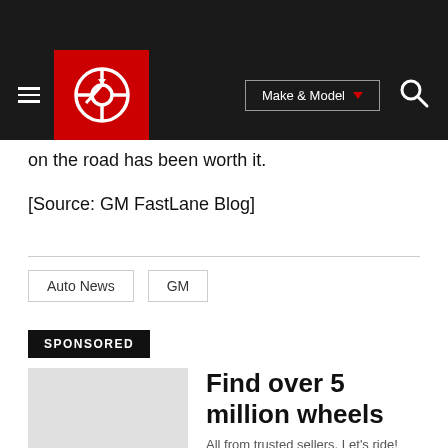[Figure (screenshot): Website navigation bar with hamburger menu, red Carfax logo, Make & Model dropdown, and search icon on dark background]
on the road has been worth it.
[Source: GM FastLane Blog]
Auto News   GM
SPONSORED
Find over 5 million wheels
All from trusted sellers. Let's ride!
Shop Now